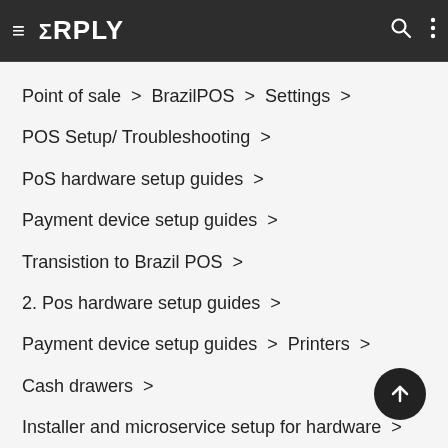≡ ΣRPLY
Point of sale  >  BrazilPOS  >  Settings  >
POS Setup/ Troubleshooting  >
PoS hardware setup guides  >
Payment device setup guides  >
Transistion to Brazil POS  >
2. Pos hardware setup guides  >
Payment device setup guides  >  Printers  >
Cash drawers  >
Installer and microservice setup for hardware  >
Client screens  >  Customer display  >  Pri…  >
BrazilPOS feature add-ons  >   >